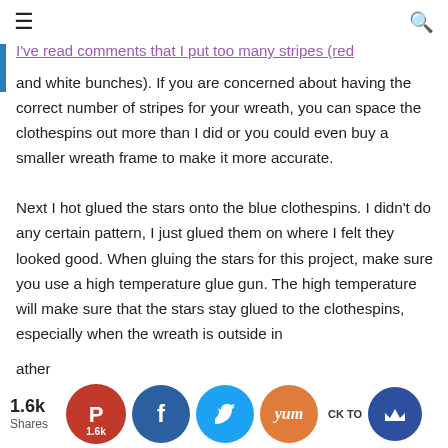≡  [hamburger menu] [search icon]
5 red clothespins followed by 5 white pins then continued the pattern around the wire wreath frame. I've read comments that I put too many stripes (red and white bunches). If you are concerned about having the correct number of stripes for your wreath, you can space the clothespins out more than I did or you could even buy a smaller wreath frame to make it more accurate.

Next I hot glued the stars onto the blue clothespins. I didn't do any certain pattern, I just glued them on where I felt they looked good. When gluing the stars for this project, make sure you use a high temperature glue gun. The high temperature will make sure that the stars stay glued to the clothespins, especially when the wreath is outside in the weather.
1.6k Shares  [Pinterest 1.6k] [Facebook] [Twitter] [Yum] [BACK TO] [crown]